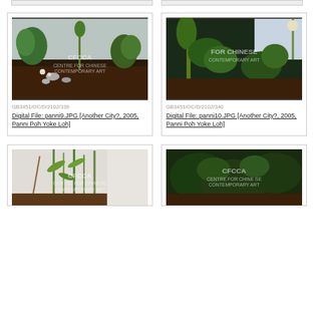[Figure (photo): Top strip remnant of cards from previous row]
[Figure (photo): Photograph of indoor plant installation with soil and greenery, watermarked Centre for Chinese Contemporary Art]
GB3451/OC/D/2102/339
Digital File: panni9.JPG [Another City?, 2005, Panni Poh Yoke Loh]
[Figure (photo): Photograph of indoor plant installation with tropical plants, watermarked Centre for Chinese Contemporary Art]
GB3451/OC/D/2102/340
Digital File: panni10.JPG [Another City?, 2005, Panni Poh Yoke Loh]
[Figure (photo): Photograph of green stems/bamboo against white backdrop, watermarked Centre for Chinese Contemporary Art]
[Figure (photo): Photograph of dark leafy plants and pink flowers on soil, watermarked CFCCA Centre for Chinese Contemporary Art]